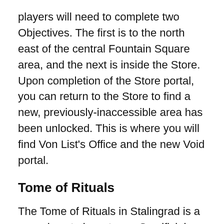players will need to complete two Objectives. The first is to the north east of the central Fountain Square area, and the next is inside the Store. Upon completion of the Store portal, you can return to the Store to find a new, previously-inaccessible area has been unlocked. This is where you will find Von List's Office and the new Void portal.
Tome of Rituals
The Tome of Rituals in Stalingrad is a new place to invest your Sacrificial Hearts and will enable you to upgrade your Artifacts up to Tier V. Take a look at our COD Vanguard update patch notes page to see the full list of Artifact upgrades available.